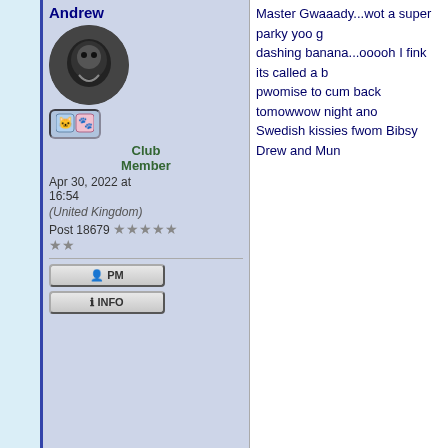Andrew
Club Member
Apr 30, 2022 at 16:54
(United Kingdom)
Post 18679 ★★★★★★
Master Gwaaady...wot a super parky yoo g... dashing banana...ooooh I fink its called a b... pwomise to cum back tomowwow night and... Swedish kissies fwom Bibsy Drew and Mun...
presley
Re: Spring walkies at the Park
Oh Grady, what a pretty place to walk, love...
you setting on the bench is our POW.  your...
Diamond Sponsor
Apr 30, 2022 at 17:12
• Sandi (Nebraska)
Post 6857 ★★★★★★